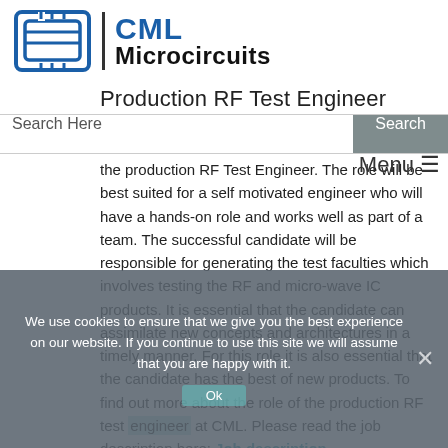[Figure (logo): CML Microcircuits logo with stylized circuit icon and company name]
Production RF Test Engineer
Search Here
Menu
the production RF Test Engineer. The role will be best suited for a self motivated engineer who will have a hands-on role and works well as part of a team. The successful candidate will be responsible for generating the test faculties which involves testing the RF and micro-wave IC products. It is essential that the candidate can assimilate new concepts and architectures in a timely manner. For this role it is also essential that the candidate has the best of new products. To find out more about the role of the production RF test engineer at CML. Please read the job description here: Job description
We use cookies to ensure that we give you the best experience on our website. If you continue to use this site we will assume that you are happy with it.